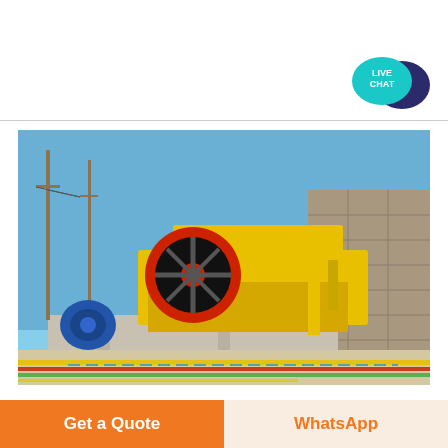[Figure (logo): Live Chat bubble icon in teal/dark blue with text LIVE CHAT, and Get Price label in green below]
[Figure (photo): Industrial jaw crusher machine painted yellow with red flywheel, mounted on concrete blocks outdoors. Stone wall visible in background, blue sky, utility poles to the left, blue motor in background left. Decorative colored stripes overlay at bottom.]
Get a Quote
WhatsApp